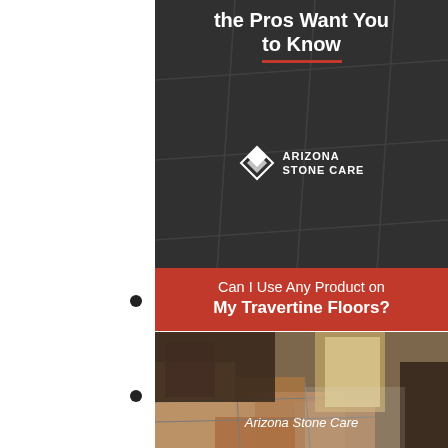the Pros Want You to Know
[Figure (logo): Arizona Stone Care logo with diamond shield icon and text ARIZONA STONE CARE]
Can I Use Any Product on My Travertine Floors?
[Figure (photo): Interior room with polished travertine tile floors, dark wood furniture including a TV cabinet and bench, and bright natural light from a glass door in the background]
Arizona Stone Care